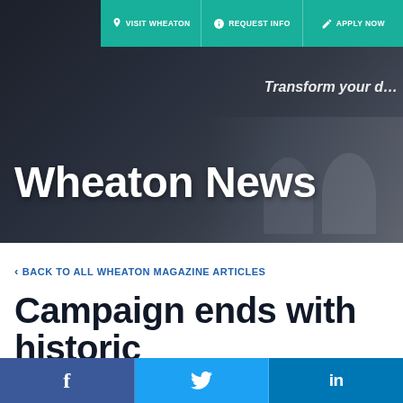VISIT WHEATON | REQUEST INFO | APPLY NOW
[Figure (photo): Dark blurred background photo of people with 'Transform your...' text visible on a banner on the right side]
Wheaton News
< BACK TO ALL WHEATON MAGAZINE ARTICLES
Campaign ends with historic
Facebook | Twitter | LinkedIn social share buttons